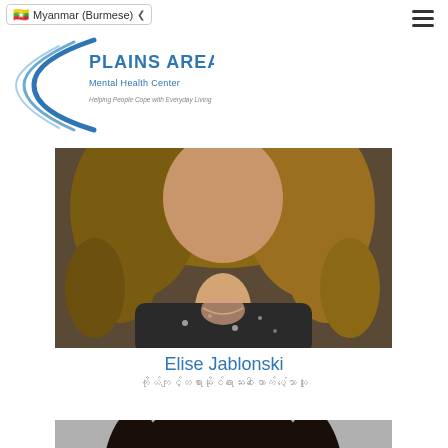Myanmar (Burmese)
[Figure (logo): Plains Area Mental Health Center logo with circular arc graphic, blue text, tagline 'Helping People Cope with Everyday Living']
[Figure (photo): Portrait photo of Elise Jablonski — woman with curly blonde-brown hair, dark patterned top, photographed from shoulders up]
Elise Jablonski
ကိုယ်ကျင့်တရားဆိုင်ရာဆေးဝါးထောက်ပံ့သောသူ
[Figure (photo): Portrait photo of a smiling woman with long dark hair, gray background, photographed from shoulders up]